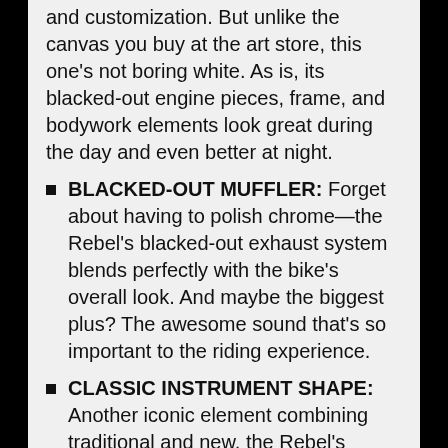and customization. But unlike the canvas you buy at the art store, this one's not boring white. As is, its blacked-out engine pieces, frame, and bodywork elements look great during the day and even better at night.
BLACKED-OUT MUFFLER: Forget about having to polish chrome—the Rebel's blacked-out exhaust system blends perfectly with the bike's overall look. And maybe the biggest plus? The awesome sound that's so important to the riding experience.
CLASSIC INSTRUMENT SHAPE: Another iconic element combining traditional and new, the Rebel's instruments take a classic shape and fill it with totally up-to-date digital LCD information. The instruments include a gear-position indicator...